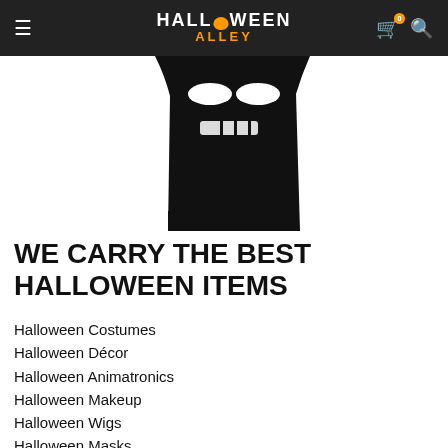Halloween Alley — navigation bar with hamburger menu, logo, cart and search icons
[Figure (illustration): Partial view of a black ghost/Grim Reaper Halloween figure with white eye slits visible against white background]
WE CARRY THE BEST HALLOWEEN ITEMS
Halloween Costumes
Halloween Décor
Halloween Animatronics
Halloween Makeup
Halloween Wigs
Halloween Masks
Halloween Props
Halloween Accessories
And Much More!